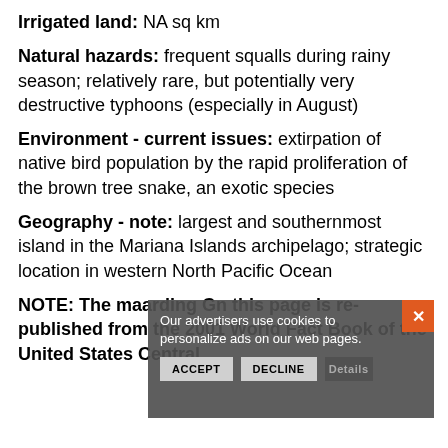Irrigated land: NA sq km
Natural hazards: frequent squalls during rainy season; relatively rare, but potentially very destructive typhoons (especially in August)
Environment - current issues: extirpation of native bird population by the rapid proliferation of the brown tree snake, an exotic species
Geography - note: largest and southernmost island in the Mariana Islands archipelago; strategic location in western North Pacific Ocean
NOTE: The map regarding Guam on this page is re-published from the 2001 World Fact Book of the United States Central